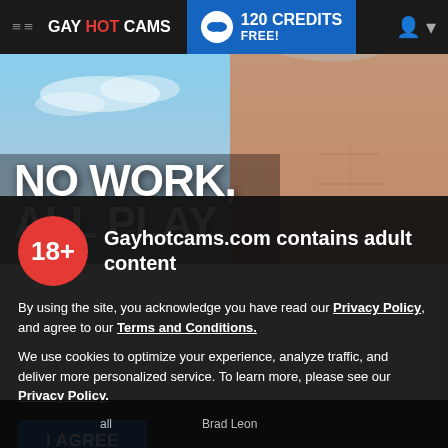GAY HOT CAMS | 120 CREDITS FREE!
[Figure (screenshot): Hero banner of a fitness model torso with sky background and overlay text NO WORK, ALL PLAY]
NO WORK, ALL PLAY
[Figure (infographic): 18+ age badge circle in red]
Gayhotcams.com contains adult content
By using the site, you acknowledge you have read our Privacy Policy, and agree to our Terms and Conditions.
We use cookies to optimize your experience, analyze traffic, and deliver more personalized service. To learn more, please see our Privacy Policy.
I AGREE